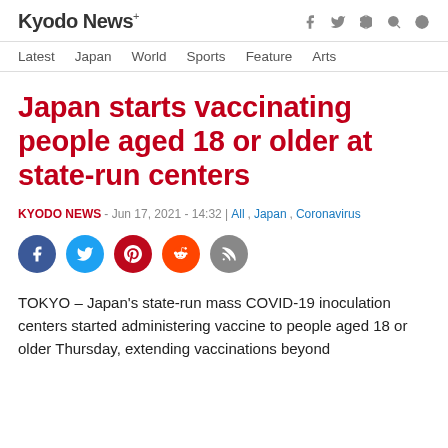Kyodo News+
Japan starts vaccinating people aged 18 or older at state-run centers
KYODO NEWS - Jun 17, 2021 - 14:32 | All, Japan, Coronavirus
[Figure (other): Social share icons: Facebook, Twitter, Pinterest, Reddit, RSS]
TOKYO – Japan's state-run mass COVID-19 inoculation centers started administering vaccine to people aged 18 or older Thursday, extending vaccinations beyond